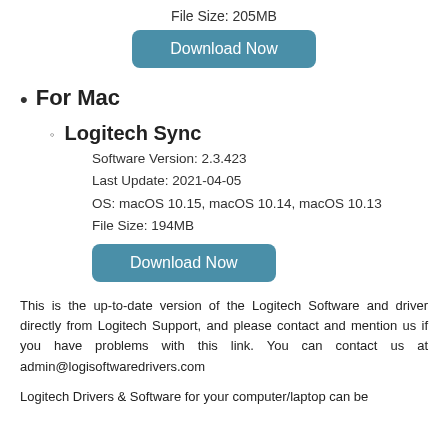File Size: 205MB
[Figure (other): Download Now button (teal rounded rectangle)]
For Mac
Logitech Sync
Software Version: 2.3.423
Last Update: 2021-04-05
OS: macOS 10.15, macOS 10.14, macOS 10.13
File Size: 194MB
[Figure (other): Download Now button (teal rounded rectangle)]
This is the up-to-date version of the Logitech Software and driver directly from Logitech Support, and please contact and mention us if you have problems with this link. You can contact us at admin@logisoftwaredrivers.com
Logitech Drivers & Software for your computer/laptop can be